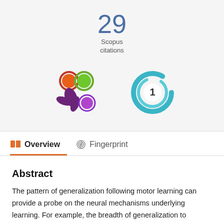29
Scopus
citations
[Figure (logo): Altmetric logo with colored circles (orange, green, purple) and splat shape in dark purple]
[Figure (logo): Mendeley circular swirl logo in teal/blue with the number 1 in center]
Overview
Fingerprint
Abstract
The pattern of generalization following motor learning can provide a probe on the neural mechanisms underlying learning. For example, the breadth of generalization to untrained regions of space after visuomotor adaptation to targets in a restricted